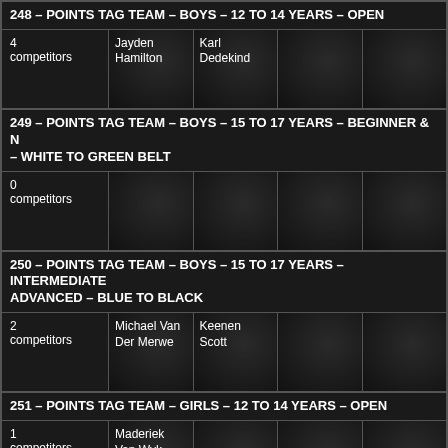248 – POINTS TAG TEAM – BOYS – 12 TO 14 YEARS – OPEN
| competitors | col1 | col2 | col3 | col4 |
| --- | --- | --- | --- | --- |
| 4 competitors | Jayden Hamilton | Karl Dedekind |  |  |
249 – POINTS TAG TEAM – BOYS – 15 TO 17 YEARS – BEGINNER & NOVICE – WHITE TO GREEN BELT
| competitors | col1 | col2 | col3 | col4 |
| --- | --- | --- | --- | --- |
| 0 competitors |  |  |  |  |
250 – POINTS TAG TEAM – BOYS – 15 TO 17 YEARS – INTERMEDIATE & ADVANCED – BLUE TO BLACK
| competitors | col1 | col2 | col3 | col4 |
| --- | --- | --- | --- | --- |
| 2 competitors | Michael Van Der Merwe | Keenen Scott |  |  |
251 – POINTS TAG TEAM – GIRLS – 12 TO 14 YEARS – OPEN
| competitors | col1 | col2 | col3 | col4 |
| --- | --- | --- | --- | --- |
| 1 competitors | Maderiek Van Wyk |  |  |  |
252 – POINTS TAG TEAM – GIRLS – 15 TO 17 YEARS – BEGINNER & NOVICE – WHITE TO GREEN BELT
| competitors | col1 | col2 | col3 | col4 |
| --- | --- | --- | --- | --- |
| 0 competitors |  |  |  |  |